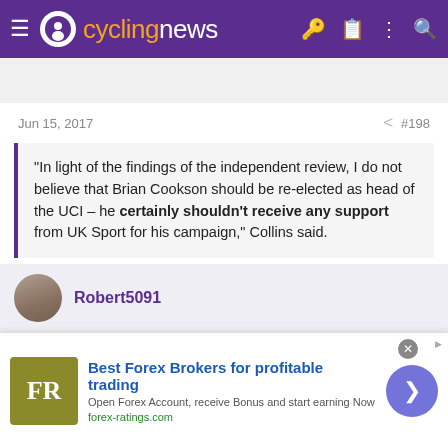cyclingnews
[Figure (screenshot): Row of cycling-themed icons: Roman numerals VI V III II I and various cycling/nature pictograms]
Jun 15, 2017   #198
"In light of the findings of the independent review, I do not believe that Brian Cookson should be re-elected as head of the UCI – he certainly shouldn't receive any support from UK Sport for his campaign," Collins said.
http://www.cyclingnews.com/news/damian-collins-calls-on-uk-sport-to-rescind-support-of-cookson-re-election/
Robert5091
[Figure (infographic): Advertisement banner: Best Forex Brokers for profitable trading - FR logo, forex-ratings.com]